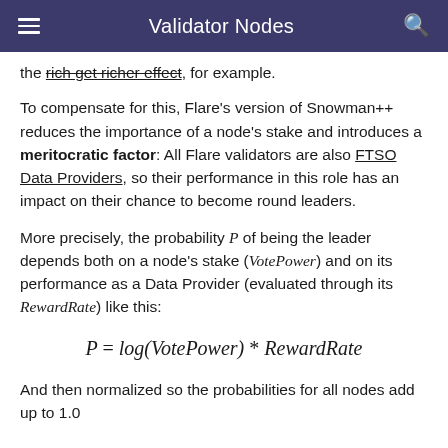Validator Nodes
the rich get richer effect, for example.
To compensate for this, Flare's version of Snowman++ reduces the importance of a node's stake and introduces a meritocratic factor: All Flare validators are also FTSO Data Providers, so their performance in this role has an impact on their chance to become round leaders.
More precisely, the probability P of being the leader depends both on a node's stake (VotePower) and on its performance as a Data Provider (evaluated through its RewardRate) like this:
And then normalized so the probabilities for all nodes add up to 1.0